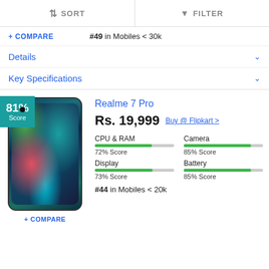↕ SORT   ▼ FILTER
+ COMPARE   #49 in Mobiles < 30k
Details
Key Specifications
81% Score
Realme 7 Pro
Rs. 19,999   Buy @ Flipkart >
| CPU & RAM | Camera |
| --- | --- |
| 72% Score | 85% Score |
| Display | Battery |
| --- | --- |
| 73% Score | 85% Score |
#44 in Mobiles < 20k
+ COMPARE